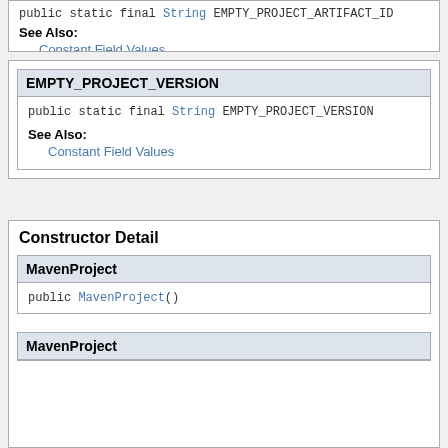public static final String EMPTY_PROJECT_ARTIFACT_ID
See Also:
Constant Field Values
EMPTY_PROJECT_VERSION
public static final String EMPTY_PROJECT_VERSION
See Also:
Constant Field Values
Constructor Detail
MavenProject
public MavenProject()
MavenProject